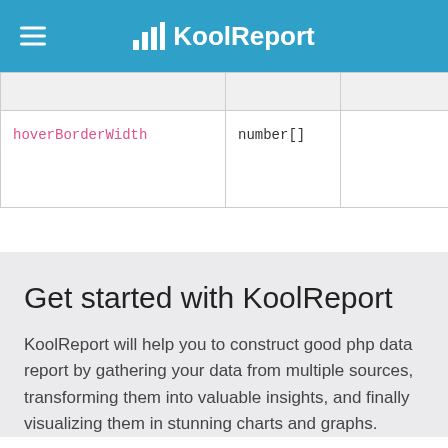KoolReport
|  |  |  | hovered |
| --- | --- | --- | --- |
| hoverBorderWidth | number[] |  | The stro width of arcs wh hovered |
Get started with KoolReport
KoolReport will help you to construct good php data report by gathering your data from multiple sources, transforming them into valuable insights, and finally visualizing them in stunning charts and graphs.